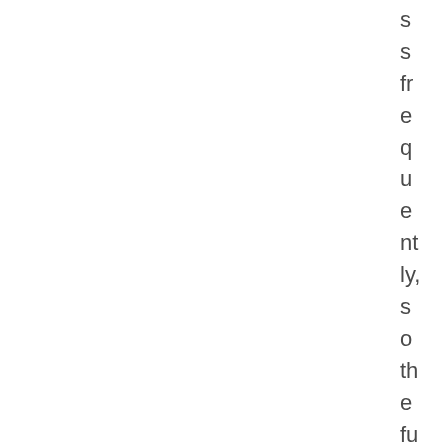s s fr e q u e nt ly, s o th e fu tu re s pr